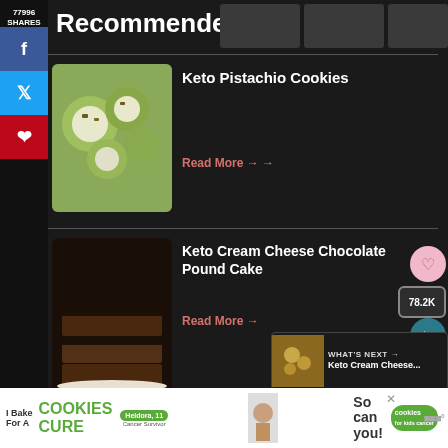Recommended
[Figure (photo): Keto pistachio cookies with white frosting and pistachio pieces on top]
Keto Pistachio Cookies
Read More →
[Figure (photo): Keto cream cheese chocolate pound cake slices with chocolate frosting]
Keto Cream Cheese Chocolate Pound Cake
Read More →
WHAT'S NEXT → Keto Cream Cheese...
[Figure (photo): Keto gingerbread cookies partially visible]
Keto Gingerbread Cookies
I Bake COOKIES For A CURE Heldora, 11 Cancer Survivor So can you! cookies for kids cancer